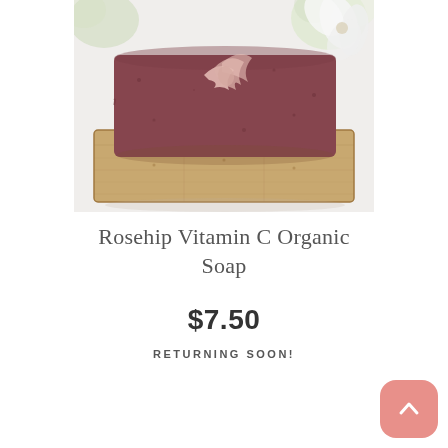[Figure (photo): A dark reddish-brown bar of handmade organic soap with a light pink swirl design on top, resting on a wooden bamboo soap dish. White flowers visible in the background.]
Rosehip Vitamin C Organic Soap
$7.50
RETURNING SOON!